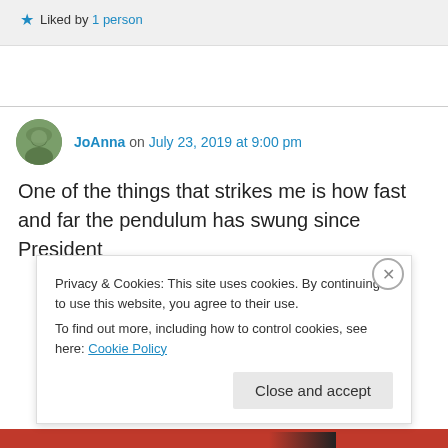★ Liked by 1 person
JoAnna on July 23, 2019 at 9:00 pm
One of the things that strikes me is how fast and far the pendulum has swung since President
Privacy & Cookies: This site uses cookies. By continuing to use this website, you agree to their use.
To find out more, including how to control cookies, see here: Cookie Policy
Close and accept